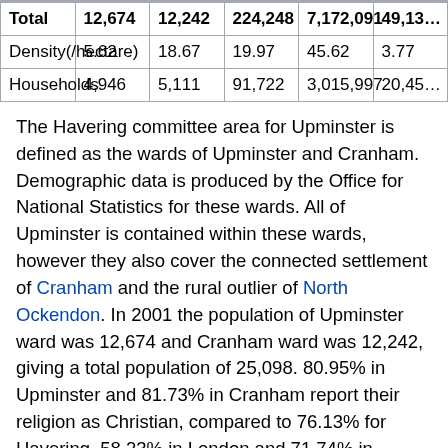|  | Upminster | Cranham | Havering | London | England |
| --- | --- | --- | --- | --- | --- |
| Total | 12,674 | 12,242 | 224,248 | 7,172,091 | 49,13... |
| Density(/hectare) | 5.62 | 18.67 | 19.97 | 45.62 | 3.77 |
| Households | 4,946 | 5,111 | 91,722 | 3,015,997 | 20,45... |
The Havering committee area for Upminster is defined as the wards of Upminster and Cranham. Demographic data is produced by the Office for National Statistics for these wards. All of Upminster is contained within these wards, however they also cover the connected settlement of Cranham and the rural outlier of North Ockendon. In 2001 the population of Upminster ward was 12,674 and Cranham ward was 12,242, giving a total population of 25,098. 80.95% in Upminster and 81.73% in Cranham report their religion as Christian, compared to 76.13% for Havering, 58.23% in London and 71.74% in England. 10.08% in Upminster and 10.46% in Cranham report having no religion, compared to 13.18% in Havering,